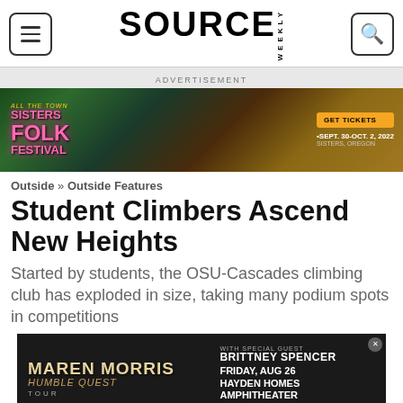SOURCE WEEKLY
ADVERTISEMENT
[Figure (other): Sisters Folk Festival advertisement banner. Text: SISTERS FOLK FESTIVAL, GET TICKETS, SEPT. 30-OCT. 2, 2022, SISTERS, OREGON]
Outside » Outside Features
Student Climbers Ascend New Heights
Started by students, the OSU-Cascades climbing club has exploded in size, taking many podium spots in competitions
[Figure (other): Maren Morris Humble Quest Tour advertisement. With special guest Brittney Spencer. Friday, Aug 26. Hayden Homes Amphitheater. Live Nation.]